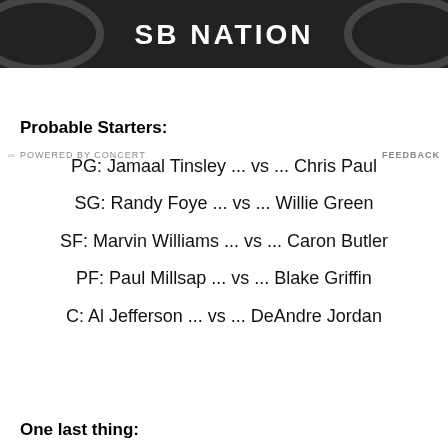[Figure (photo): Black and white photo strip showing SB Nation logo/branding on what appears to be a bicycle or vehicle wheel]
POWERED BY CONCERT    FEEDBACK
Probable Starters:
PG: Jamaal Tinsley ... vs ... Chris Paul
SG: Randy Foye ... vs ... Willie Green
SF: Marvin Williams ... vs ... Caron Butler
PF: Paul Millsap ... vs ... Blake Griffin
C: Al Jefferson ... vs ... DeAndre Jordan
One last thing: